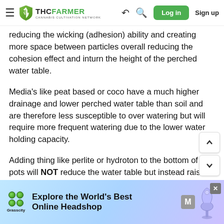THC FARMER - Cannabis Cultivation Network
reducing the wicking (adhesion) ability and creating more space between particles overall reducing the cohesion effect and inturn the height of the perched water table.
Media's like peat based or coco have a much higher drainage and lower perched water table than soil and are therefore less susceptible to over watering but will require more frequent watering due to the lower water holding capacity.
Adding thing like perlite or hydroton to the bottom of the pots will NOT reduce the water table but instead raise it. This is because as I said the height of the water table will
[Figure (screenshot): Grasscity advertisement banner: Explore the World's Best Online Headshop]